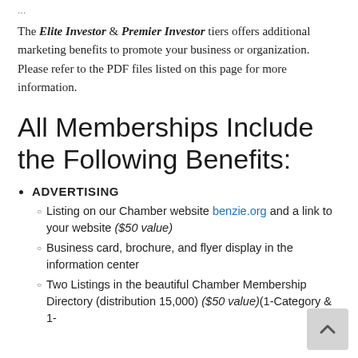...
The Elite Investor & Premier Investor tiers offers additional marketing benefits to promote your business or organization. Please refer to the PDF files listed on this page for more information.
All Memberships Include the Following Benefits:
ADVERTISING
Listing on our Chamber website benzie.org and a link to your website ($50 value)
Business card, brochure, and flyer display in the information center
Two Listings in the beautiful Chamber Membership Directory (distribution 15,000) ($50 value)(1-Category & 1-